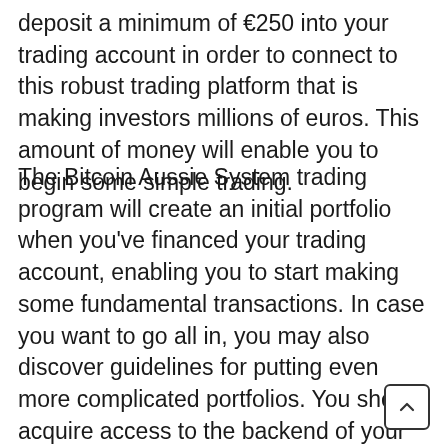deposit a minimum of €250 into your trading account in order to connect to this robust trading platform that is making investors millions of euros. This amount of money will enable you to begin some simple trading.
The Bitcoin Aussie System trading program will create an initial portfolio when you've financed your trading account, enabling you to start making some fundamental transactions. In case you want to go all in, you may also discover guidelines for putting even more complicated portfolios. You should acquire access to the backend of your account after creating an account on the Bitcoin Aussie System trading platform and paying your trading account so that you may view your account balance and transaction history from the dashboard interface.